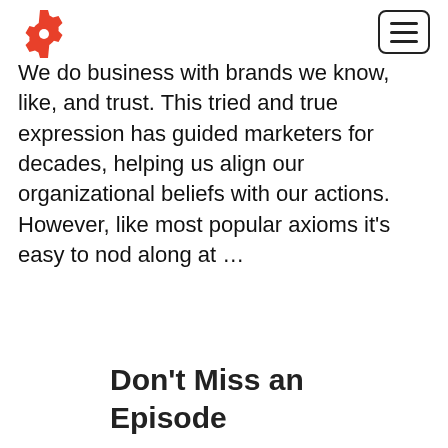[Logo: red gear icon] [Hamburger menu button]
We do business with brands we know, like, and trust. This tried and true expression has guided marketers for decades, helping us align our organizational beliefs with our actions. However, like most popular axioms it's easy to nod along at ...
Don't Miss an Episode